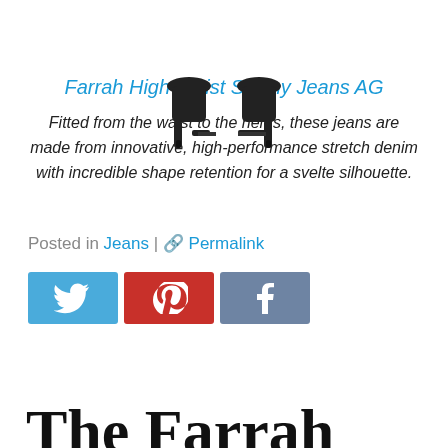[Figure (photo): Partial view of black high-heeled boots, cropped at top of page]
Farrah High Waist Skinny Jeans AG
Fitted from the waist to the hems, these jeans are made from innovative, high-performance stretch denim with incredible shape retention for a svelte silhouette.
Posted in Jeans | 🔗 Permalink
[Figure (other): Social share buttons: Twitter (blue), Pinterest (red), Facebook (grey-blue)]
The Farrah High